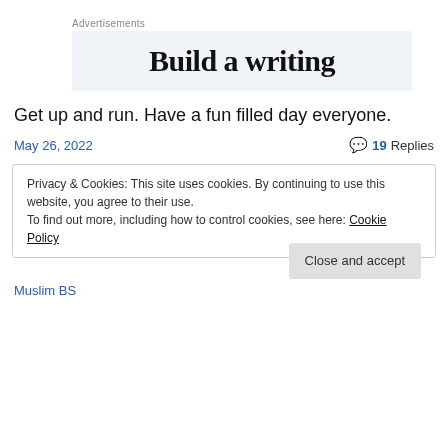Advertisements
[Figure (other): Advertisement banner showing 'Build a writing' text in a light blue-grey box]
Get up and run. Have a fun filled day everyone.
May 26, 2022
19 Replies
Privacy & Cookies: This site uses cookies. By continuing to use this website, you agree to their use. To find out more, including how to control cookies, see here: Cookie Policy
Close and accept
Muslim BS